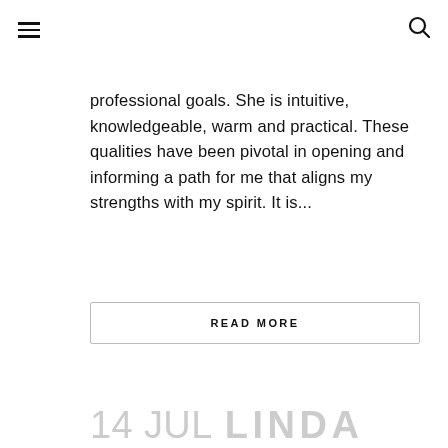☰ [search icon]
professional goals. She is intuitive, knowledgeable, warm and practical. These qualities have been pivotal in opening and informing a path for me that aligns my strengths with my spirit. It is...
READ MORE
14 JUL  LINDA